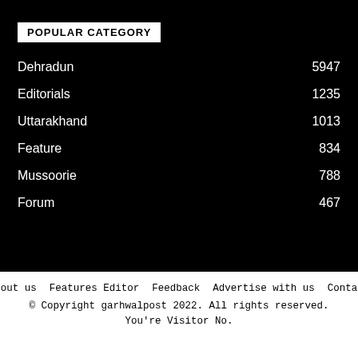POPULAR CATEGORY
Dehradun 5947
Editorials 1235
Uttarakhand 1013
Feature 834
Mussoorie 788
Forum 467
About us   Features Editor   Feedback   Advertise with us   Contact
© Copyright garhwalpost 2022. All rights reserved.
You're Visitor No.